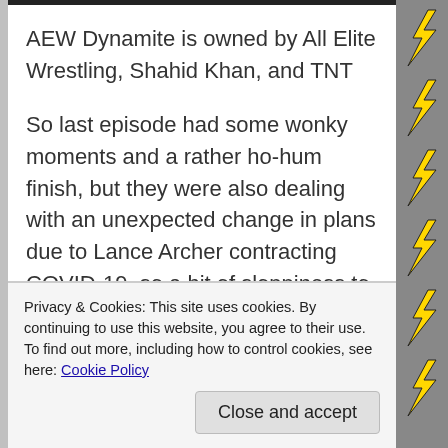AEW Dynamite is owned by All Elite Wrestling, Shahid Khan, and TNT
So last episode had some wonky moments and a rather ho-hum finish, but they were also dealing with an unexpected change in plans due to Lance Archer contracting COVID-19, so a bit of sloppiness to try and fill in the cracks is understandable, and while Archer isn't back YET, they did at least have more time to prepare which hopefully means a more cohesive night of
Privacy & Cookies: This site uses cookies. By continuing to use this website, you agree to their use.
To find out more, including how to control cookies, see here: Cookie Policy